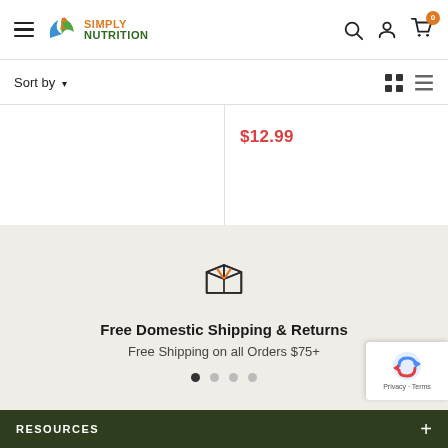Simply Nutrition — navigation header with hamburger menu, logo, search, account, and cart (0 items)
Sort by ▾
$12.99
[Figure (illustration): Box/package icon with orange stripe detail]
Free Domestic Shipping & Returns
Free Shipping on all Orders $75+
RESOURCES +